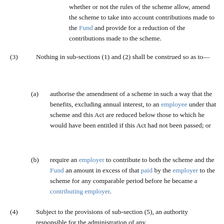whether or not the rules of the scheme allow, amend the scheme to take into account contributions made to the Fund and provide for a reduction of the contributions made to the scheme.
(3) Nothing in sub-sections (1) and (2) shall be construed so as to—
(a) authorise the amendment of a scheme in such a way that the benefits, excluding annual interest, to an employee under that scheme and this Act are reduced below those to which he would have been entitled if this Act had not been passed; or
(b) require an employer to contribute to both the scheme and the Fund an amount in excess of that paid by the employer to the scheme for any comparable period before he became a contributing employer.
(4) Subject to the provisions of sub-section (5), an authority responsible for the administration of any